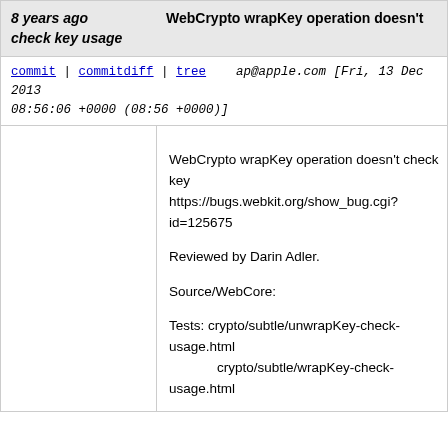8 years ago   WebCrypto wrapKey operation doesn't check key usage
commit | commitdiff | tree   ap@apple.com [Fri, 13 Dec 2013 08:56:06 +0000 (08:56 +0000)]
WebCrypto wrapKey operation doesn't check key usage https://bugs.webkit.org/show_bug.cgi?id=125675

Reviewed by Darin Adler.

Source/WebCore:

Tests: crypto/subtle/unwrapKey-check-usage.html
        crypto/subtle/wrapKey-check-usage.html

* bindings/js/JSSubtleCryptoCustom.cpp: (WebCo... Added accidentally omitted code. Other operations...

LayoutTests:

* crypto/subtle/unwrapKey-check-usage-expected.txt: Added.
* crypto/subtle/unwrapKey-check-usage.html: Added.
* crypto/subtle/wrapKey-check-usage-expected.txt: Added.